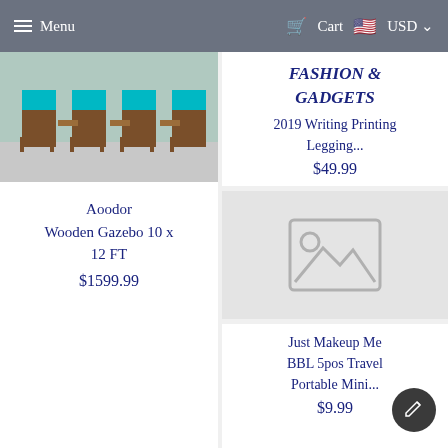Menu | Cart | USD
[Figure (photo): Outdoor wooden chairs with turquoise cushions on a patio]
Aoodor Wooden Gazebo 10 x 12 FT
$1599.99
FASHION & GADGETS
2019 Writing Printing Legging...
$49.99
[Figure (photo): Placeholder image box with no image loaded]
Just Makeup Me BBL 5pos Travel Portable Mini...
$9.99